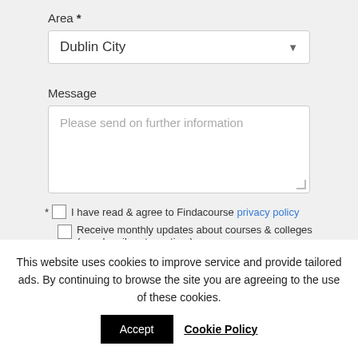Area *
Dublin City
Message
Please send on further information
* I have read & agree to Findacourse privacy policy
Receive monthly updates about courses & colleges (unsubscribe at any time)
I'm not a robot
This website uses cookies to improve service and provide tailored ads. By continuing to browse the site you are agreeing to the use of these cookies.
Accept
Cookie Policy